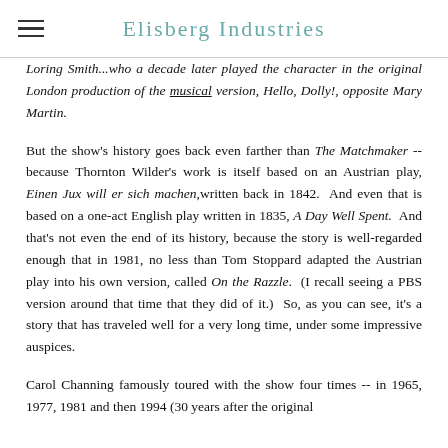Elisberg Industries
Loring Smith...who a decade later played the character in the original London production of the musical version, Hello, Dolly!, opposite Mary Martin.
But the show's history goes back even farther than The Matchmaker -- because Thornton Wilder's work is itself based on an Austrian play, Einen Jux will er sich machen,written back in 1842.  And even that is based on a one-act English play written in 1835, A Day Well Spent.  And that's not even the end of its history, because the story is well-regarded enough that in 1981, no less than Tom Stoppard adapted the Austrian play into his own version, called On the Razzle.  (I recall seeing a PBS version around that time that they did of it.)  So, as you can see, it's a story that has traveled well for a very long time, under some impressive auspices.
Carol Channing famously toured with the show four times -- in 1965, 1977, 1981 and then 1994 (30 years after the original